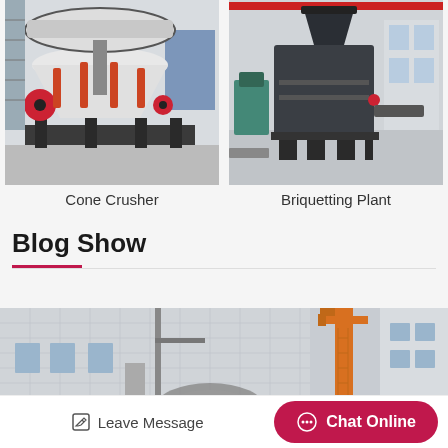[Figure (photo): Cone Crusher machine in industrial facility, showing white and red heavy machinery with hydraulic components]
Cone Crusher
[Figure (photo): Briquetting Plant machine in factory setting, large dark grey industrial press equipment]
Briquetting Plant
Blog Show
[Figure (photo): Blog thumbnail showing industrial building exterior with machinery parts visible]
[Figure (photo): Blog thumbnail showing orange crane or lifting equipment near industrial building]
Leave Message
Chat Online